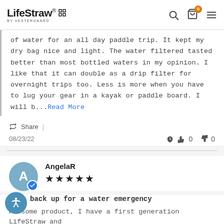LifeStraw® by VESTERGAARD
of water for an all day paddle trip. It kept my dry bag nice and light. The water filtered tasted better than most bottled waters in my opinion. I like that it can double as a drip filter for overnight trips too. Less is more when you have to lug your gear in a kayak or paddle board. I will b...Read More
Share | 08/23/22  👍 0  👎 0
AngelaR ★★★★★
reat back up for a water emergency
Awesome product, I have a first generation LifeStraw and